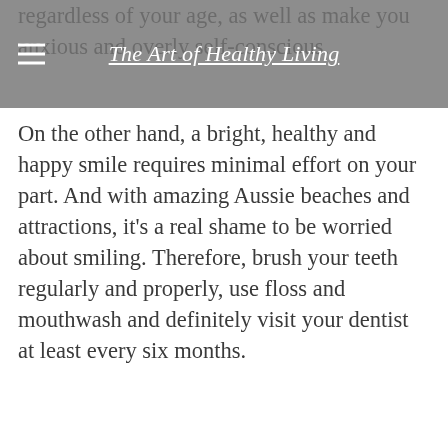The Art of Healthy Living
regardless of your age, as well as make you anxious and overly self-conscious. On the other hand, a bright, healthy and happy smile requires minimal effort on your part. And with amazing Aussie beaches and attractions, it's a real shame to be worried about smiling. Therefore, brush your teeth regularly and properly, use floss and mouthwash and definitely visit your dentist at least every six months.
Diana Smith is a full time mom of two beautiful girls interested in